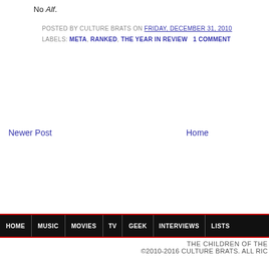No Alf.
POSTED BY CULTURE BRATS ON FRIDAY, DECEMBER 31, 2010
LABELS: META, RANKED, THE YEAR IN REVIEW   1 COMMENT
Newer Post
Home
HOME | MUSIC | MOVIES | TV | GEEK | INTERVIEWS | LISTS
THE CHILDREN OF THE
©2010-2016 CULTURE BRATS. ALL RIC